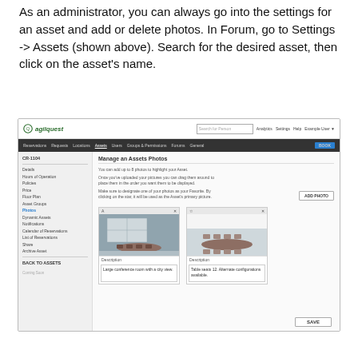As an administrator, you can always go into the settings for an asset and add or delete photos. In Forum, go to Settings -> Assets (shown above). Search for the desired asset, then click on the asset's name.
[Figure (screenshot): Screenshot of AgilQuest application showing 'Manage an Assets Photos' page with two conference room photos, descriptions, ADD PHOTO button, and SAVE button. Left sidebar shows navigation links including CR-1104, Details, Hours of Operation, Policies, Price, Floor Plan, Asset Groups, Photos (active), Dynamic Assets, Notifications, Calendar of Reservations, List of Reservations, Share, Archive Asset, BACK TO ASSETS.]